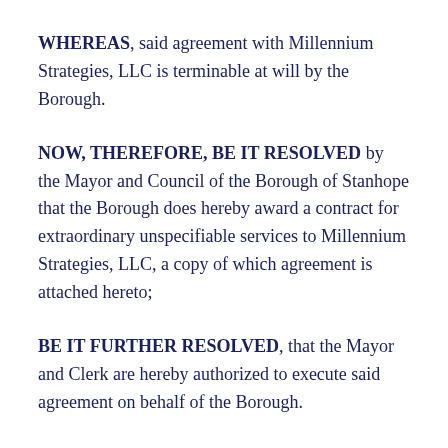WHEREAS, said agreement with Millennium Strategies, LLC is terminable at will by the Borough.
NOW, THEREFORE, BE IT RESOLVED by the Mayor and Council of the Borough of Stanhope that the Borough does hereby award a contract for extraordinary unspecifiable services to Millennium Strategies, LLC, a copy of which agreement is attached hereto;
BE IT FURTHER RESOLVED, that the Mayor and Clerk are hereby authorized to execute said agreement on behalf of the Borough.
On motion by Councilwoman Kuncken, seconded by